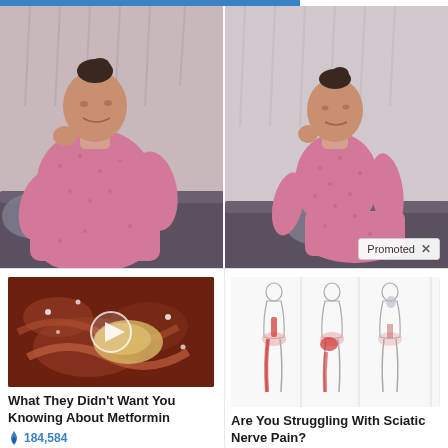[Figure (photo): Before and after weight loss comparison photo of a woman in pink polka dot pajamas, sitting on a couch. Left side shows heavier figure, right side shows slimmer figure. 'Promoted X' badge in bottom right corner.]
[Figure (photo): Medical video thumbnail showing internal organ/intestine close-up with a play button overlay.]
What They Didn't Want You Knowing About Metformin
184,584
[Figure (illustration): Medical illustration showing three human body outlines from the side, with red highlighted areas indicating sciatic nerve pain patterns running from the lower back through the leg.]
Are You Struggling With Sciatic Nerve Pain?
4,019